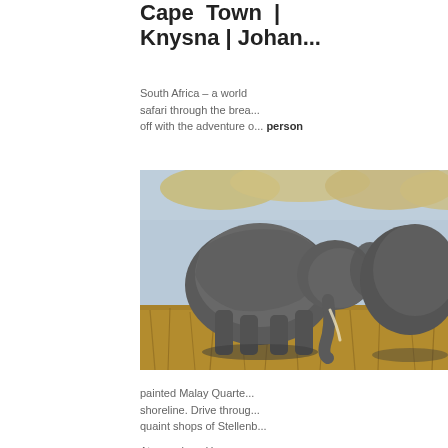Cape Town | Knysna | Johannesburg
South Africa – a world safari through the breathtaking landscapes. Kick off with the adventure of a lifetime from per person
[Figure (photo): Two elephants photographed in golden savanna grassland with yellow-leafed trees in the background]
painted Malay Quarter shoreline. Drive through quaint shops of Stellenbosch
At nearby Herman...